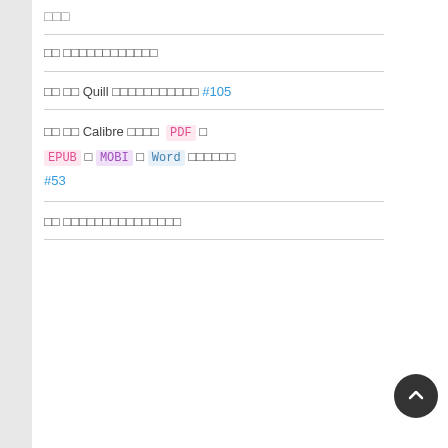□□□
□□ □□□□□□□□□□□□
□□ □□ Quill □□□□□□□□□□□ #105
□□ □□ Calibre □□□□  PDF □ EPUB □ MOBI □ Word □□□□□□ #53
□□ □□□□□□□□□□□□□□□